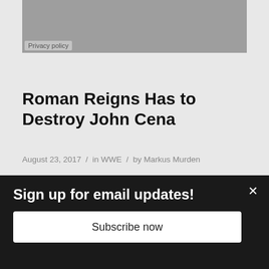[Figure (photo): Gray placeholder image area with Privacy policy label in bottom left corner]
Privacy policy
Roman Reigns Has to Destroy John Cena
August 23, 2017 / in WWE / by Markus Murden
[Figure (photo): WWE arena photo showing Roman Reigns with fist raised in front of a crowd, red arena lighting]
Sign up for email updates!
Subscribe now